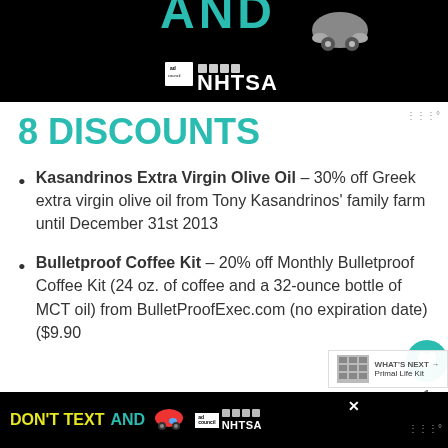[Figure (screenshot): NHTSA 'Don't Text and Drive' public service ad banner (black background with ad council and NHTSA logos)]
8 DISCOUNTS
Kasandrinos Extra Virgin Olive Oil – 30% off Greek extra virgin olive oil from Tony Kasandrinos' family farm until December 31st 2013
Bulletproof Coffee Kit – 20% off Monthly Bulletproof Coffee Kit (24 oz. of coffee and a 32-ounce bottle of MCT oil) from BulletProofExec.com (no expiration date) ($9.90 value)
[Figure (screenshot): Bottom NHTSA 'Don't Text and Drive' ad banner with car emoji and ad council/NHTSA logos on black background]